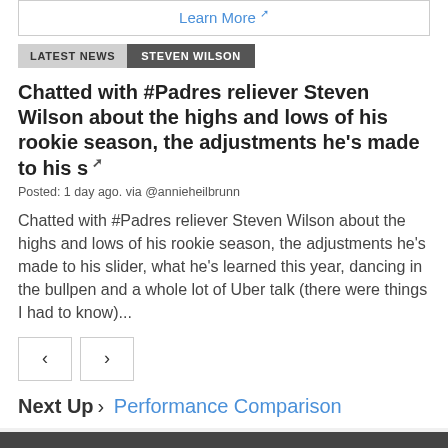Learn More ↗
LATEST NEWS  STEVEN WILSON
Chatted with #Padres reliever Steven Wilson about the highs and lows of his rookie season, the adjustments he's made to his s ↗
Posted: 1 day ago. via @annieheilbrunn
Chatted with #Padres reliever Steven Wilson about the highs and lows of his rookie season, the adjustments he's made to his slider, what he's learned this year, dancing in the bullpen and a whole lot of Uber talk (there were things I had to know)...
‹  ›
Next Up › Performance Comparison
New Start Decision